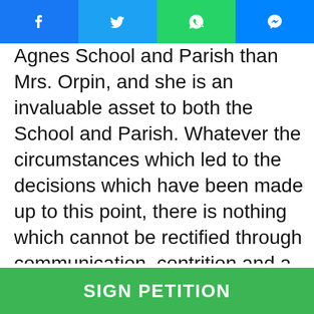[Figure (screenshot): Social media share bar with Facebook, Twitter, WhatsApp, and Messenger buttons]
Agnes School and Parish than Mrs. Orpin, and she is an invaluable asset to both the School and Parish. Whatever the circumstances which led to the decisions which have been made up to this point, there is nothing which cannot be rectified through communication, contrition and a commitment to unity by all involved (Mrs. Orpin, Pastorate, School, and Parish Administration and Staff, as well as parents and supporters) for the betterment of both St. Agnes School and St. Agnes Parish.  As families and supporters of St. Agnes, our common purpose is to advance both the School and Parish to achieve their greatest potential.  It is with this common purpose in mind. and the conviction of our moral
SIGN PETITION